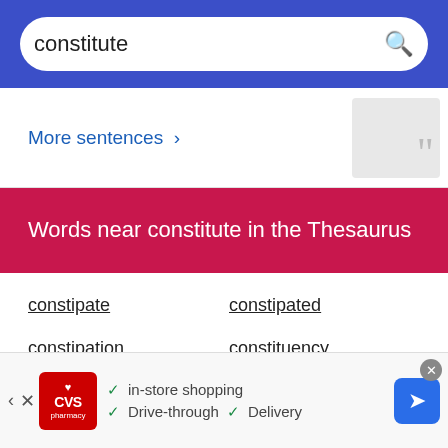constitute
More sentences >
Words near constitute in the Thesaurus
constipate
constipated
constipation
constituency
constituent
constituents
constitute
constituted
[Figure (screenshot): CVS Pharmacy advertisement banner with in-store shopping, Drive-through, and Delivery options, plus navigation icon]